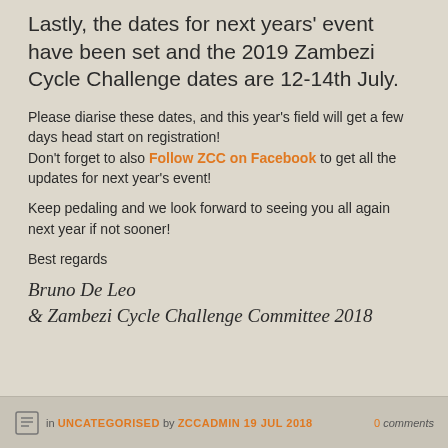Lastly, the dates for next years' event have been set and the 2019 Zambezi Cycle Challenge dates are 12-14th July.
Please diarise these dates, and this year's field will get a few days head start on registration!
Don't forget to also Follow ZCC on Facebook to get all the updates for next year's event!
Keep pedaling and we look forward to seeing you all again next year if not sooner!
Best regards
Bruno De Leo
& Zambezi Cycle Challenge Committee 2018
in UNCATEGORISED by ZCCADMIN 19 JUL 2018  0 comments